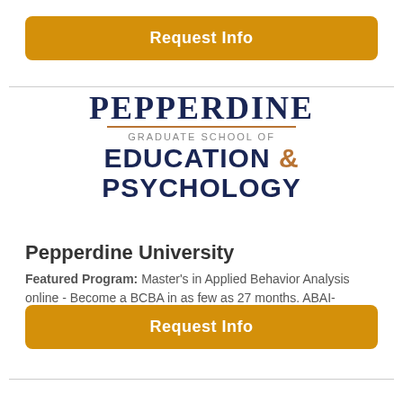[Figure (logo): Button/banner: Request Info in orange rounded rectangle]
[Figure (logo): Pepperdine Graduate School of Education & Psychology logo with navy and tan text]
Pepperdine University
Featured Program: Master's in Applied Behavior Analysis online - Become a BCBA in as few as 27 months. ABAI-verified. No GRE required.
[Figure (logo): Button/banner: Request Info in orange rounded rectangle]